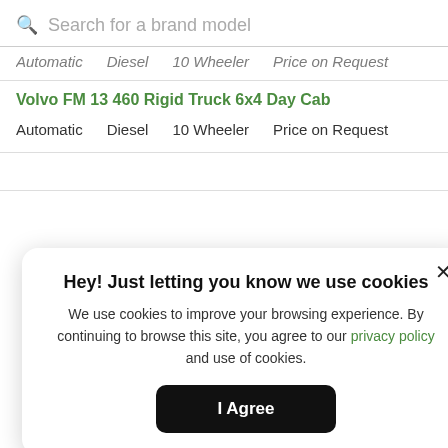Search for a brand model
Automatic   Diesel   10 Wheeler   Price on Request
Volvo FM 13 460 Rigid Truck 6x4 Day Cab
Automatic   Diesel   10 Wheeler   Price on Request
Hey! Just letting you know we use cookies
We use cookies to improve your browsing experience. By continuing to browse this site, you agree to our privacy policy and use of cookies.
I Agree